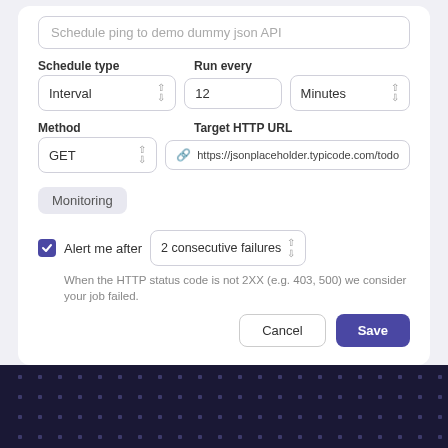Schedule ping to demo dummy json API
Schedule type
Run every
Interval | 12 | Minutes
Method
Target HTTP URL
GET
https://jsonplaceholder.typicode.com/todo
Monitoring
Alert me after 2 consecutive failures
When the HTTP status code is not 2XX (e.g. 403, 500) we consider your job failed.
Cancel
Save
Job Monitoring